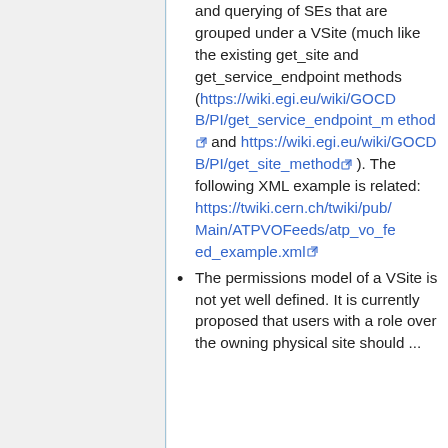and querying of SEs that are grouped under a VSite (much like the existing get_site and get_service_endpoint methods (https://wiki.egi.eu/wiki/GOCDB/PI/get_service_endpoint_method and https://wiki.egi.eu/wiki/GOCDB/PI/get_site_method ). The following XML example is related: https://twiki.cern.ch/twiki/pub/Main/ATPVOFeeds/atp_vo_feed_example.xml
The permissions model of a VSite is not yet well defined. It is currently proposed that users with a role over the owning physical site should ...